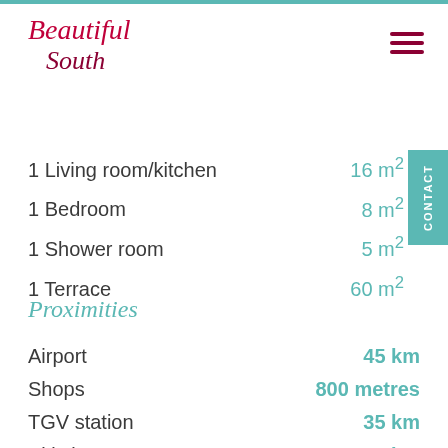Beautiful South
1 Living room/kitchen   16 m²
1 Bedroom   8 m²
1 Shower room   5 m²
1 Terrace   60 m²
Proximities
Airport   45 km
Shops   800 metres
TGV station   35 km
Ski slope   108 km